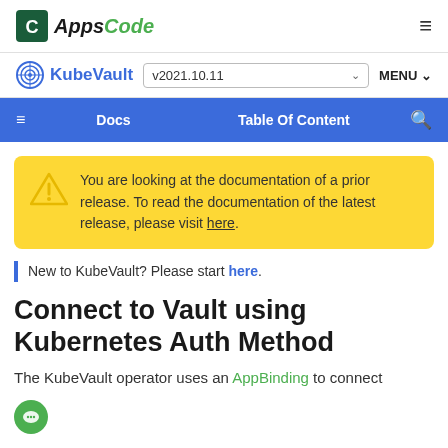AppsCode
KubeVault v2021.10.11 MENU
Docs  Table Of Content
You are looking at the documentation of a prior release. To read the documentation of the latest release, please visit here.
New to KubeVault? Please start here.
Connect to Vault using Kubernetes Auth Method
The KubeVault operator uses an AppBinding to connect